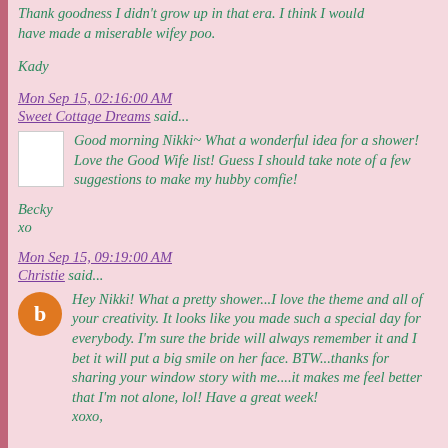Thank goodness I didn't grow up in that era. I think I would have made a miserable wifey poo.
Kady
Mon Sep 15, 02:16:00 AM
Sweet Cottage Dreams said...
Good morning Nikki~ What a wonderful idea for a shower! Love the Good Wife list! Guess I should take note of a few suggestions to make my hubby comfie!
Becky
xo
Mon Sep 15, 09:19:00 AM
Christie said...
Hey Nikki! What a pretty shower...I love the theme and all of your creativity. It looks like you made such a special day for everybody. I'm sure the bride will always remember it and I bet it will put a big smile on her face. BTW...thanks for sharing your window story with me....it makes me feel better that I'm not alone, lol! Have a great week!
xoxo,